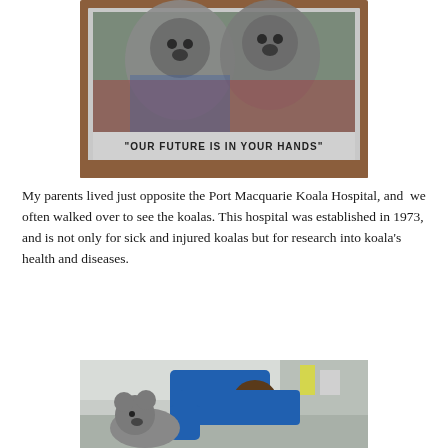[Figure (photo): A framed picture of koalas with the text 'OUR FUTURE IS IN YOUR HANDS' on a banner below the image. The frame appears to be wooden with a silver inner border.]
My parents lived just opposite the Port Macquarie Koala Hospital, and we often walked over to see the koalas. This hospital was established in 1973, and is not only for sick and injured koalas but for research into koala's health and diseases.
[Figure (photo): A veterinarian in blue scrubs leaning over a koala on an examination table in a hospital/clinic setting.]